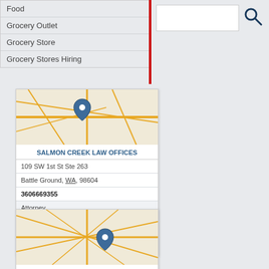Food
Grocery Outlet
Grocery Store
Grocery Stores Hiring
[Figure (map): Street map with location pin for Salmon Creek Law Offices]
SALMON CREEK LAW OFFICES
109 SW 1st St Ste 263
Battle Ground, WA, 98604
3606669355
Attorney
Attorneys
Law Firms
Lawyers
[Figure (map): Street map with location pin for Salon 402]
SALON 402